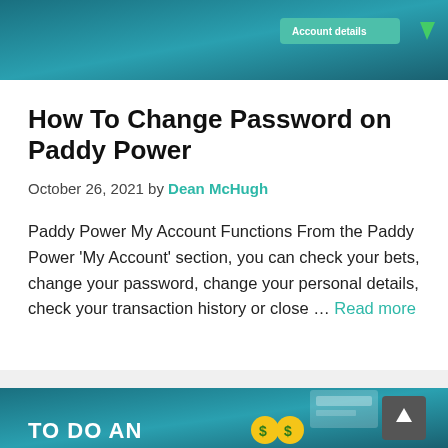[Figure (screenshot): Top banner showing a dark teal/green gradient background with an 'Account details' button and a green download arrow icon visible in the upper right area.]
How To Change Password on Paddy Power
October 26, 2021 by Dean McHugh
Paddy Power My Account Functions From the Paddy Power 'My Account' section, you can check your bets, change your password, change your personal details, check your transaction history or close … Read more
[Figure (screenshot): Bottom section showing a dark teal gradient banner with partial text 'TO DO AN' and dollar coin emojis, plus a back-to-top arrow button and a partial screenshot of an account interface on the right.]